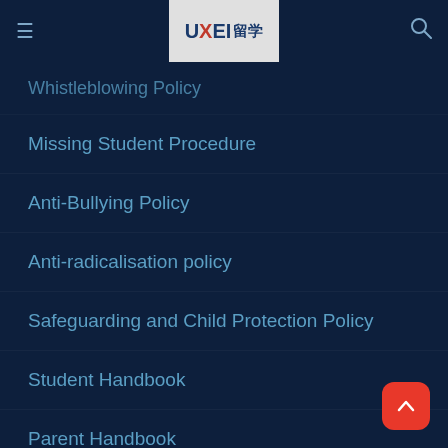UXEl留学 navigation header
Whistleblowing Policy
Missing Student Procedure
Anti-Bullying Policy
Anti-radicalisation policy
Safeguarding and Child Protection Policy
Student Handbook
Parent Handbook